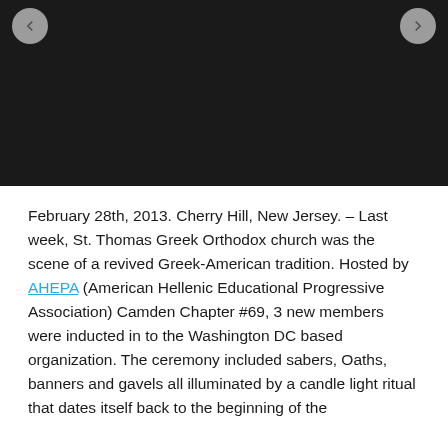[Figure (photo): Dark/black image area with left and right navigation arrows at the top, functioning as a photo slideshow viewer with a mostly black/dark image displayed.]
February 28th, 2013. Cherry Hill, New Jersey. – Last week, St. Thomas Greek Orthodox church was the scene of a revived Greek-American tradition. Hosted by AHEPA (American Hellenic Educational Progressive Association) Camden Chapter #69, 3 new members were inducted in to the Washington DC based organization. The ceremony included sabers, Oaths, banners and gavels all illuminated by a candle light ritual that dates itself back to the beginning of the